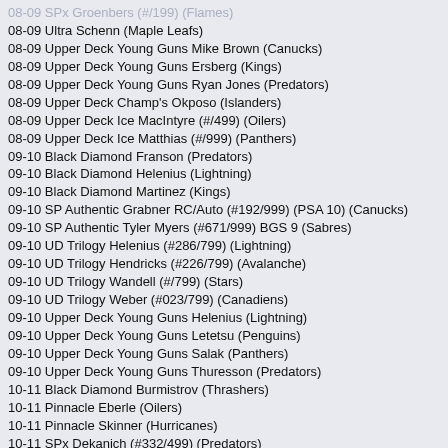08-09 SPx Groenbers (#/199) (Flames)
08-09 Ultra Schenn (Maple Leafs)
08-09 Upper Deck Young Guns Mike Brown (Canucks)
08-09 Upper Deck Young Guns Ersberg (Kings)
08-09 Upper Deck Young Guns Ryan Jones (Predators)
08-09 Upper Deck Champ's Okposo (Islanders)
08-09 Upper Deck Ice MacIntyre (#/499) (Oilers)
08-09 Upper Deck Ice Matthias (#/999) (Panthers)
09-10 Black Diamond Franson (Predators)
09-10 Black Diamond Helenius (Lightning)
09-10 Black Diamond Martinez (Kings)
09-10 SP Authentic Grabner RC/Auto (#192/999) (PSA 10) (Canucks)
09-10 SP Authentic Tyler Myers (#671/999) BGS 9 (Sabres)
09-10 UD Trilogy Helenius (#286/799) (Lightning)
09-10 UD Trilogy Hendricks (#226/799) (Avalanche)
09-10 UD Trilogy Wandell (#/799) (Stars)
09-10 UD Trilogy Weber (#023/799) (Canadiens)
09-10 Upper Deck Young Guns Helenius (Lightning)
09-10 Upper Deck Young Guns Letetsu (Penguins)
09-10 Upper Deck Young Guns Salak (Panthers)
09-10 Upper Deck Young Guns Thuresson (Predators)
10-11 Black Diamond Burmistrov (Thrashers)
10-11 Pinnacle Eberle (Oilers)
10-11 Pinnacle Skinner (Hurricanes)
10-11 SPx Dekanich (#332/499) (Predators)
10-11 SPx Falk (#191/499) (Wild)
10-11 SPx Haley (#/499) (Islanders)
10-11 SPx Samson (#/499) (Hurricanes)
10-11 Ultimate Collection Patrice Cormier (#/399) (Thrashers)
10-11 Victory Skinner (Hurricanes)
11-12 Black Diamond Kruger (Black Hawks)
11-12 Black Diamond Scrivens (Maple Leafs)
11-12 Certified McMillan RC/Auto (Wild)